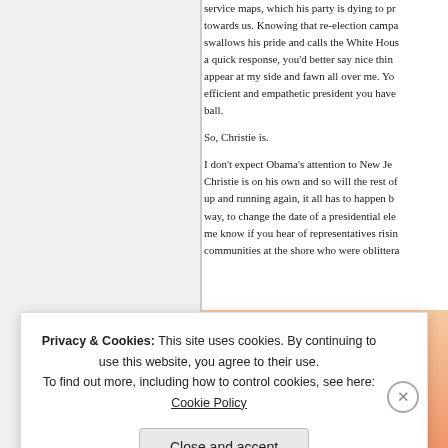service maps, which his party is dying to pr towards us. Knowing that re-election campa swallows his pride and calls the White Hous a quick response, you'd better say nice thin appear at my side and fawn all over me. Yo efficient and empathetic president you have ball.
So, Christie is.
I don't expect Obama's attention to New Je Christie is on his own and so will the rest of up and running again, it all has to happen b way, to change the date of a presidential ele me know if you hear of representatives risin communities at the shore who were oblittera
[Figure (illustration): Partial book cover image with orange/pink background, showing italic bold text 'in the ba' and a small circular logo below]
Privacy & Cookies: This site uses cookies. By continuing to use this website, you agree to their use.
To find out more, including how to control cookies, see here: Cookie Policy
Close and accept